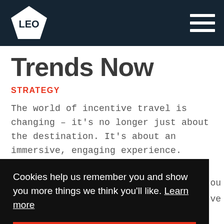LEO — navigation header with hamburger menu
Trends Now
STRATEGY
The world of incentive travel is changing – it's no longer just about the destination. It's about an immersive, engaging experience. Incorporating destination-specific elements helps your
Cookies help us remember you and show you more things we think you'll like. Learn more
Sounds good!